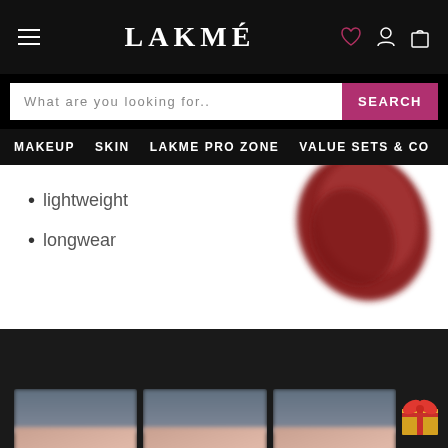LAKMÉ
What are you looking for..
MAKEUP  SKIN  LAKME PRO ZONE  VALUE SETS & CO
lightweight
longwear
[Figure (photo): Red lipstick swatch / smear]
[Figure (photo): Three thumbnail swatches on fingers/hand]